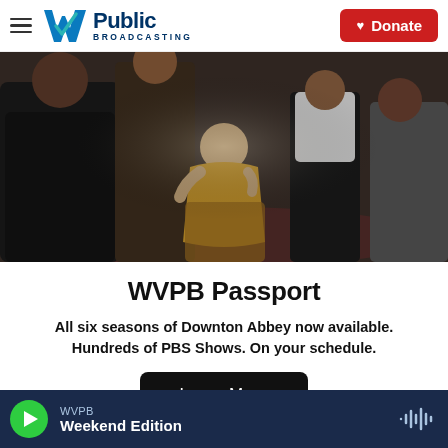W Public Broadcasting — Donate
[Figure (photo): Group of people in period costume from Downton Abbey TV show, woman in gold dress seated in center]
WVPB Passport
All six seasons of Downton Abbey now available. Hundreds of PBS Shows. On your schedule.
Learn More
WVPB Weekend Edition — audio player bar